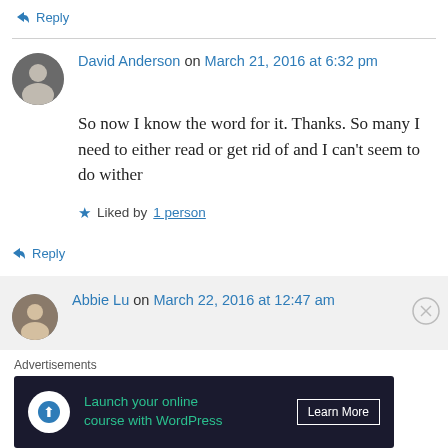↳ Reply
[Figure (photo): David Anderson avatar - small circular profile photo of a man]
David Anderson on March 21, 2016 at 6:32 pm
So now I know the word for it. Thanks. So many I need to either read or get rid of and I can't seem to do wither
★ Liked by 1 person
↳ Reply
[Figure (photo): Abbie Lu avatar - small circular profile photo of a woman]
Abbie Lu on March 22, 2016 at 12:47 am
Advertisements
[Figure (infographic): Advertisement banner: Launch your online course with WordPress - Learn More button]